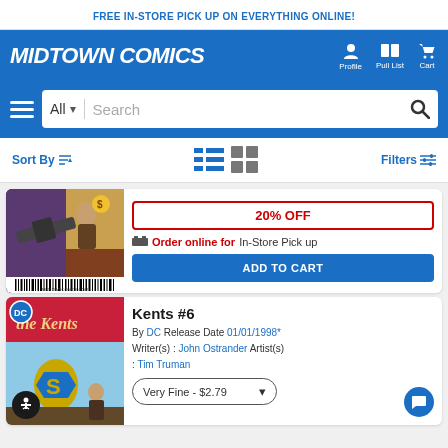FREE IN-STORE PICK UP ON EVERYTHING ONLINE!
MIDTOWN COMICS
Profile  Pull List  Cart
All  Search
Sort By  Filters
[Figure (photo): Comic book cover showing gun and character art with midtowncomics.com barcode at bottom]
20% OFF
Order online for In-Store Pick up
ADD TO CART
[Figure (photo): The Kents #6 comic book cover with DC logo, Superman S symbol, and 'the Kents' text]
Kents #6
By DC Release Date 01/01/1998*
Writer(s) : John Ostrander Artist(s) : Tim Truman
Very Fine - $2.79